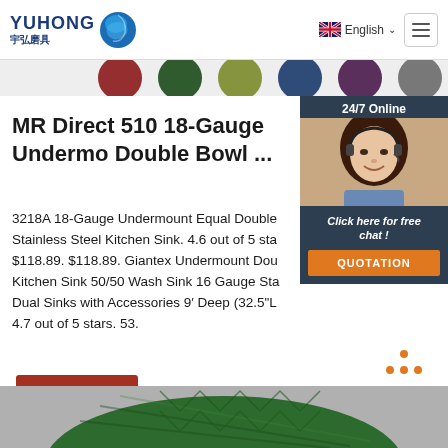[Figure (logo): Yuhong 宇弘磨具 logo with blue sphere graphic and navigation bar with English language selector and hamburger menu]
[Figure (photo): Colored abrasive discs strip at top of page]
[Figure (photo): 24/7 Online chat widget with woman wearing headset, click here for free chat, and QUOTATION button]
MR Direct 510 18-Gauge Undermo Double Bowl ...
3218A 18-Gauge Undermount Equal Double Stainless Steel Kitchen Sink. 4.6 out of 5 sta $118.89. $118.89. Giantex Undermount Dou Kitchen Sink 50/50 Wash Sink 16 Gauge Sta Dual Sinks with Accessories 9′ Deep (32.5"L 4.7 out of 5 stars. 53.
[Figure (other): Get Price button (brown/red)]
[Figure (other): TOP back-to-top button with orange dots]
[Figure (photo): Green textured abrasive disc at bottom of page]